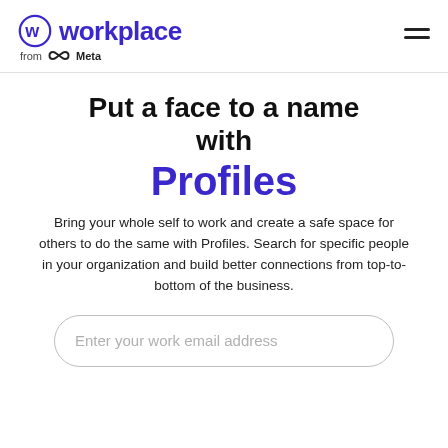workplace from Meta
Put a face to a name with Profiles
Bring your whole self to work and create a safe space for others to do the same with Profiles. Search for specific people in your organization and build better connections from top-to-bottom of the business.
Enter your work email address